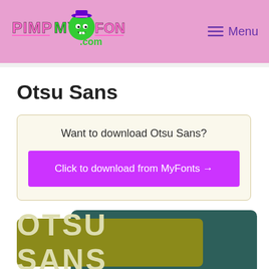[Figure (logo): PimpMyFonts.com logo with green zombie character wearing purple hat]
≡ Menu
Otsu Sans
Want to download Otsu Sans?
Click to download from MyFonts →
[Figure (screenshot): Font preview showing OTSU SANS text in cream color on olive/dark green background]